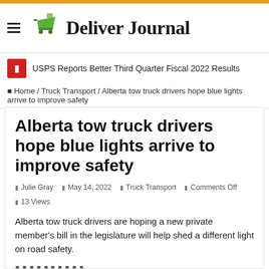Deliver Journal
USPS Reports Better Third Quarter Fiscal 2022 Results
Home / Truck Transport / Alberta tow truck drivers hope blue lights arrive to improve safety
Alberta tow truck drivers hope blue lights arrive to improve safety
Julie Gray  May 14, 2022  Truck Transport  Comments Off  13 Views
Alberta tow truck drivers are hoping a new private member’s bill in the legislature will help shed a different light on road safety.